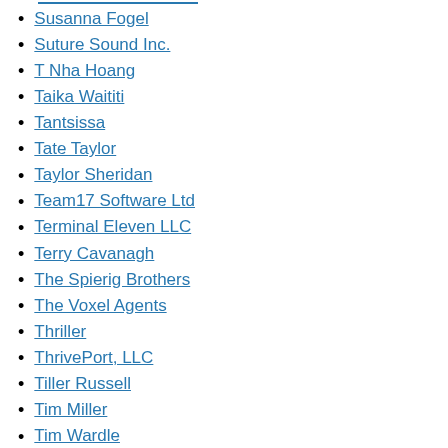Susanna Fogel
Suture Sound Inc.
T Nha Hoang
Taika Waititi
Tantsissa
Tate Taylor
Taylor Sheridan
Team17 Software Ltd
Terminal Eleven LLC
Terry Cavanagh
The Spierig Brothers
The Voxel Agents
Thriller
ThrivePort, LLC
Tiller Russell
Tim Miller
Tim Wardle
Timothy Reckart
Timothy Woodward Jr.